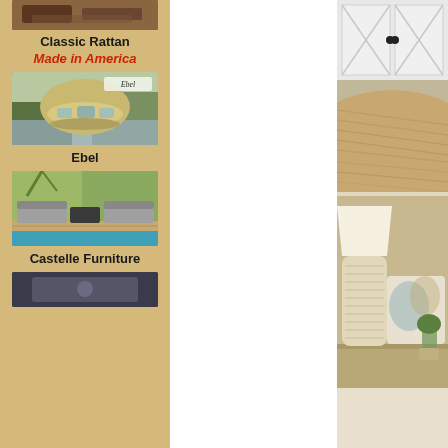[Figure (photo): Outdoor furniture photo - top of left column (cropped)]
Classic Rattan
Made in America
[Figure (photo): Ebel outdoor furniture - round daybed canopy lounge chair]
Ebel
[Figure (photo): Castelle Furniture - outdoor lounge seating by pool]
Castelle Furniture
[Figure (photo): Bottom cropped outdoor furniture image]
[Figure (photo): Right column top - close-up of round wooden table top and white geometric cabinet]
[Figure (photo): Right column bottom - lamp, decorative pillow, and vase on table]